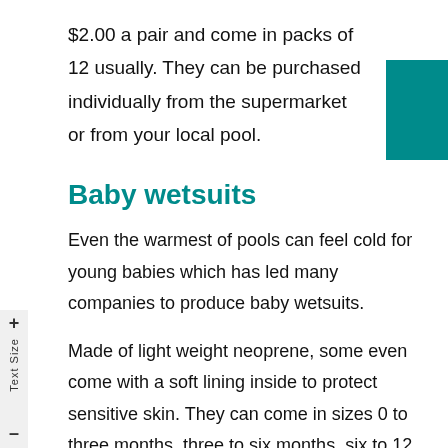$2.00 a pair and come in packs of 12 usually. They can be purchased individually from the supermarket or from your local pool.
Baby wetsuits
Even the warmest of pools can feel cold for young babies which has led many companies to produce baby wetsuits.
Made of light weight neoprene, some even come with a soft lining inside to protect sensitive skin. They can come in sizes 0 to three months, three to six months, six to 12 months and 12 to 24 months.
They come as a full body suit to just tops or leggings and are ideal to protect your child from UV